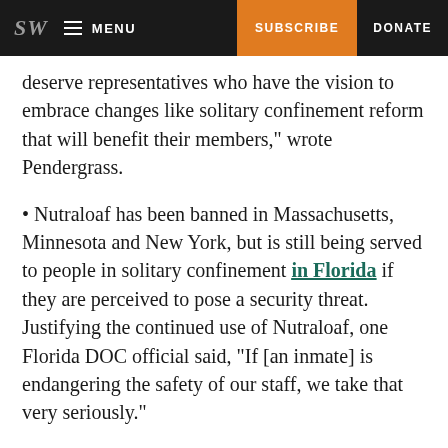SW  MENU  SUBSCRIBE  DONATE
deserve representatives who have the vision to embrace changes like solitary confinement reform that will benefit their members," wrote Pendergrass.
• Nutraloaf has been banned in Massachusetts, Minnesota and New York, but is still being served to people in solitary confinement in Florida if they are perceived to pose a security threat. Justifying the continued use of Nutraloaf, one Florida DOC official said, “If [an inmate] is endangering the safety of our staff, we take that very seriously.”